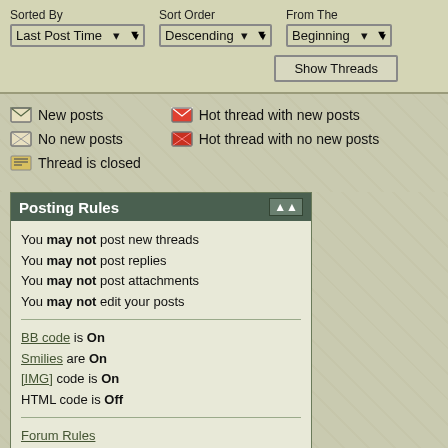Sorted By: Last Post Time | Sort Order: Descending | From The: Beginning
Show Threads
New posts
Hot thread with new posts
No new posts
Hot thread with no new posts
Thread is closed
Posting Rules
You may not post new threads
You may not post replies
You may not post attachments
You may not edit your posts
BB code is On
Smilies are On
[IMG] code is On
HTML code is Off
Forum Rules
All times are GMT -5. Th
-- Green
Powered by vBulletin® Version 3.8.11
Copyright ©2000 - 2022, vBulletin Solutions Inc.
Ad Management by RedTyger
Inactive Reminders By Icora Web Design